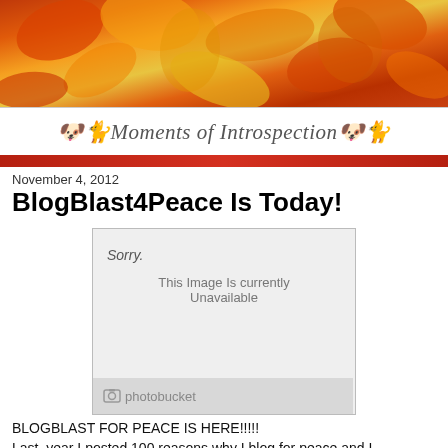[Figure (photo): Autumn leaves banner — orange, red, and yellow maple leaves filling the top header area of the blog page]
Moments of Introspection
November 4, 2012
BlogBlast4Peace Is Today!
[Figure (photo): Photobucket placeholder image showing 'Sorry. This Image Is currently Unavailable' with photobucket logo at bottom]
BLOGBLAST FOR PEACE IS HERE!!!!!
Last year I posted 100 reasons why I blog for peace and I